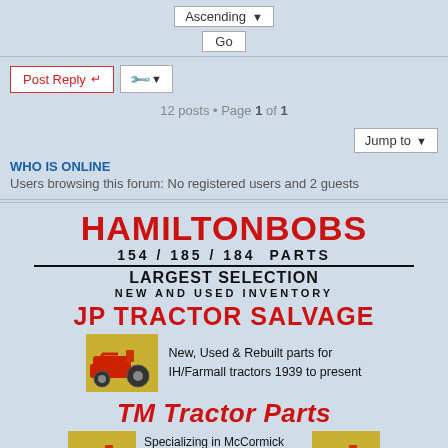Ascending  Go
Post Reply  (tools)
12 posts • Page 1 of 1
Jump to
WHO IS ONLINE
Users browsing this forum: No registered users and 2 guests
[Figure (infographic): HAMILTONBOBS advertisement: 154 / 185 / 184 PARTS, LARGEST SELECTION, NEW AND USED INVENTORY, JP TRACTOR SALVAGE with red tractor image, New, Used & Rebuilt parts for IH/Farmall tractors 1939 to present, TM Tractor Parts with two red tractor images, Specializing in McCormick Farmall Cub International Cub and International Lo-Boy]